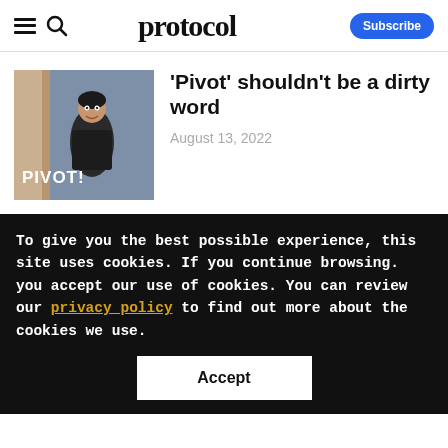protocol — Subscribe
[Figure (photo): A man in a dark shirt leaning in a doorway with text overlay 'PIVOT!' in white bold letters on the lower left of the image]
'Pivot' shouldn't be a dirty word
August 13, 2022
To give you the best possible experience, this site uses cookies. If you continue browsing. you accept our use of cookies. You can review our privacy policy to find out more about the cookies we use.
Accept